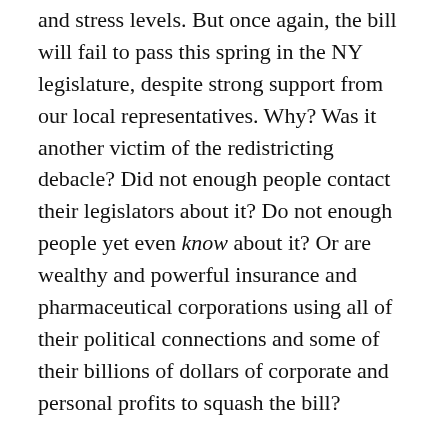and stress levels. But once again, the bill will fail to pass this spring in the NY legislature, despite strong support from our local representatives. Why? Was it another victim of the redistricting debacle? Did not enough people contact their legislators about it? Do not enough people yet even know about it? Or are wealthy and powerful insurance and pharmaceutical corporations using all of their political connections and some of their billions of dollars of corporate and personal profits to squash the bill?
How about all of the above! And do you know what? Every year we let more people know about New York Health, every year we learn a little more about how to organize effectively, and every year we get closer to passage. This year, despite continuing Covid restrictions, we taught more people how to tell their healthcare stories, canvassed more neighborhoods, had